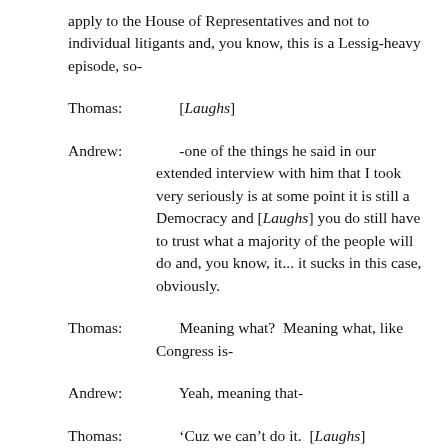apply to the House of Representatives and not to individual litigants and, you know, this is a Lessig-heavy episode, so-
Thomas:        [Laughs]
Andrew:        -one of the things he said in our extended interview with him that I took very seriously is at some point it is still a Democracy and [Laughs] you do still have to trust what a majority of the people will do and, you know, it... it sucks in this case, obviously.
Thomas:        Meaning what?  Meaning what, like Congress is-
Andrew:        Yeah, meaning that-
Thomas:        'Cuz we can't do it.  [Laughs]